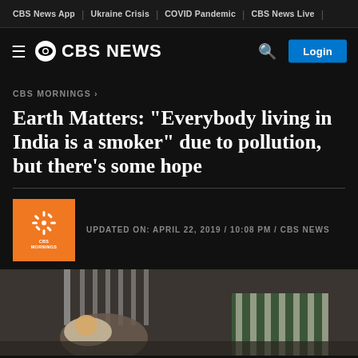CBS News App | Ukraine Crisis | COVID Pandemic | CBS News Live
[Figure (logo): CBS News logo with hamburger menu, eye icon, CBS NEWS text, search icon, and Login button]
CBS MORNINGS >
Earth Matters: "Everybody living in India is a smoker" due to pollution, but there's some hope
UPDATED ON: APRIL 22, 2019 / 10:08 PM / CBS NEWS
[Figure (photo): Photo showing a person holding a baby, with another person in a green and white striped garment nearby, in what appears to be an indoor setting with bars in the background]